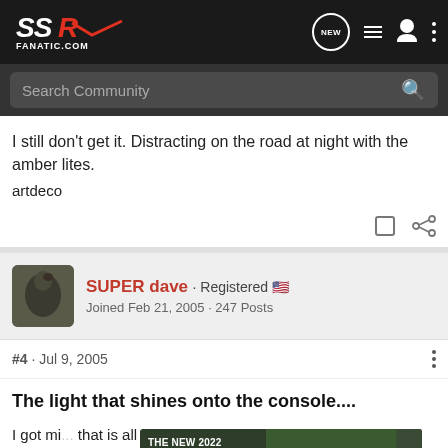SSR FANATIC.COM - header navigation with NEW, list, user, and menu icons
Search Community
I still don't get it. Distracting on the road at night with the amber lites.
artdeco
SUPER dave · Registered 🇺🇸
Joined Feb 21, 2005 · 247 Posts
#4 · Jul 9, 2005
The light that shines onto the console....
I got mi... that is all the w... me
[Figure (screenshot): Advertisement for The New 2022 Silverado by Chevrolet with Explore button]